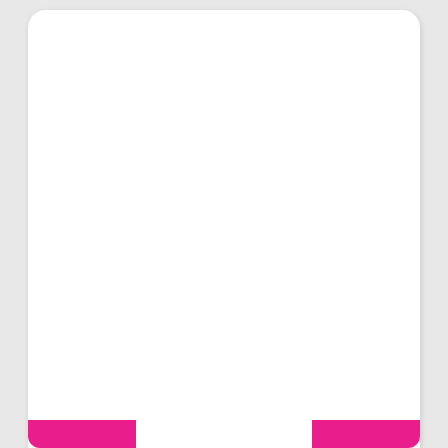miyagi discography discogs is from Bing and full image size is 600x580. You can also download miyagi discography discogs 600x580 here with full size from original source Bing